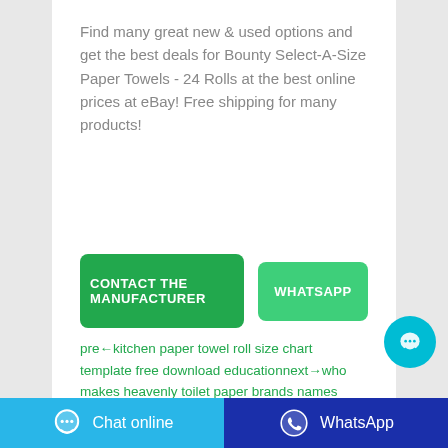Find many great new & used options and get the best deals for Bounty Select-A-Size Paper Towels - 24 Rolls at the best online prices at eBay! Free shipping for many products!
CONTACT THE MANUFACTURER
WHATSAPP
pre←kitchen paper towel roll size chart template free download educationnext→who makes heavenly toilet paper brands names list 2018 pictures images
Related Post
Chat online
WhatsApp